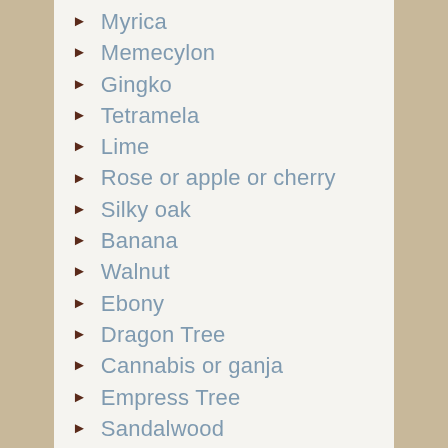Myrica
Memecylon
Gingko
Tetramela
Lime
Rose or apple or cherry
Silky oak
Banana
Walnut
Ebony
Dragon Tree
Cannabis or ganja
Empress Tree
Sandalwood
Lamp oil tree